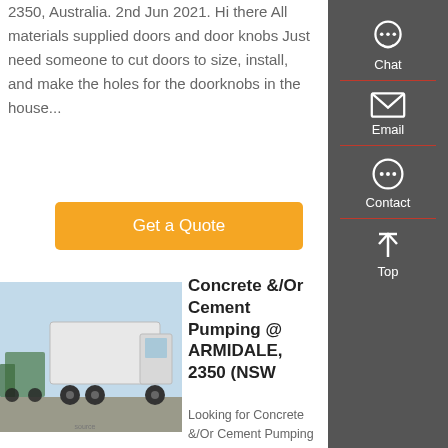2350, Australia. 2nd Jun 2021. Hi there All materials supplied doors and door knobs Just need someone to cut doors to size, install, and make the holes for the doorknobs in the house...
Get a Quote
[Figure (photo): Photo of large white semi-truck/heavy transport vehicle with multiple other trucks visible in the background, parked on a lot.]
Concrete &/Or Cement Pumping @ ARMIDALE, 2350 (NSW
Looking for Concrete &/Or Cement Pumping in ARMIDALE, 2350 (NSW? AussieWeb Local...